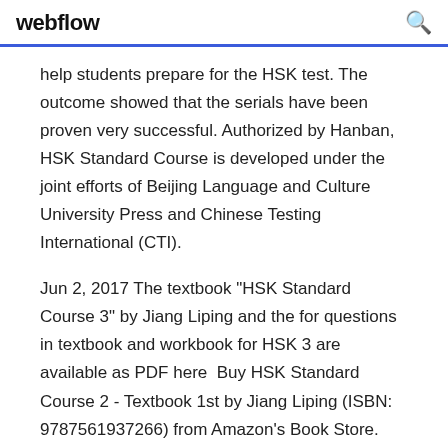webflow
help students prepare for the HSK test. The outcome showed that the serials have been proven very successful. Authorized by Hanban, HSK Standard Course is developed under the joint efforts of Beijing Language and Culture University Press and Chinese Testing International (CTI).
Jun 2, 2017 The textbook "HSK Standard Course 3" by Jiang Liping and the for questions in textbook and workbook for HSK 3 are available as PDF here  Buy HSK Standard Course 2 - Textbook 1st by Jiang Liping (ISBN: 9787561937266) from Amazon's Book Store.